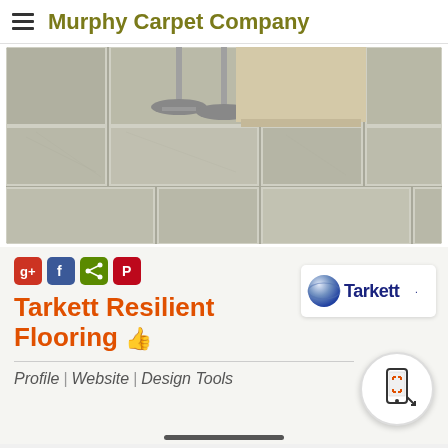Murphy Carpet Company
[Figure (photo): Photo of resilient tile flooring in a kitchen or bar area, showing gray stone-look vinyl tiles with bar stools in the background]
[Figure (logo): Social media icons: Google+, Facebook, Share, Pinterest]
Tarkett Resilient Flooring
[Figure (logo): Tarkett brand logo with metallic orb and navy text]
Profile | Website | Design Tools